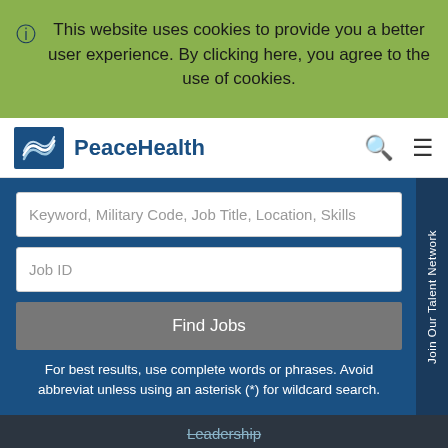This website uses cookies to provide you a better user experience. By clicking here, you agree to the use of cookies.
[Figure (logo): PeaceHealth logo with wave icon in blue square and 'PeaceHealth' text]
Keyword, Military Code, Job Title, Location, Skills
Job ID
Find Jobs
For best results, use complete words or phrases. Avoid abbreviat unless using an asterisk (*) for wildcard search.
Join Our Talent Network
Leadership
Nursing